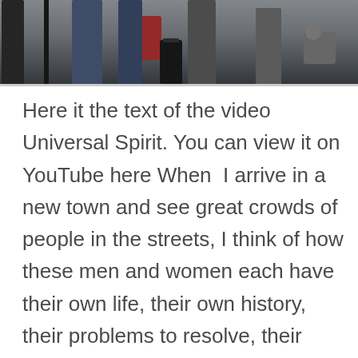[Figure (photo): A street scene photo showing a crowd of people on a city street, partially cropped at the top. People are shown from approximately waist down, with luggage, and a person sitting in the background.]
Here it the text of the video Universal Spirit. You can view it on YouTube here When I arrive in a new town and see great crowds of people in the streets, I think of how these men and women each have their own life, their own history, their problems to resolve, their suffering and their loves... And of how there is a Being that sustains them all because it lives within them... Centre your thoughts on this Universal Spirit, on the